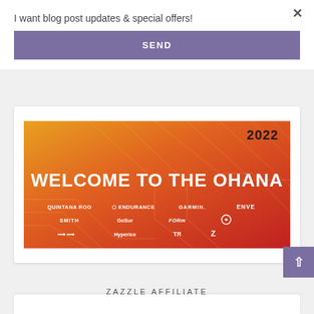I want blog post updates & special offers!
SEND
[Figure (illustration): Promotional banner with gradient background (orange to red), '2022' text in top right, large white bold text 'WELCOME TO THE OHANA', and sponsor logos including QUINTANA ROO, G ENDURANCE, GARMIN, ENVE, SMITH, Go Sur, FORM, (logo), (logo), Hyperice, TR (TYCHE), Z (ZENITH)]
ZAZZLE AFFILIATE